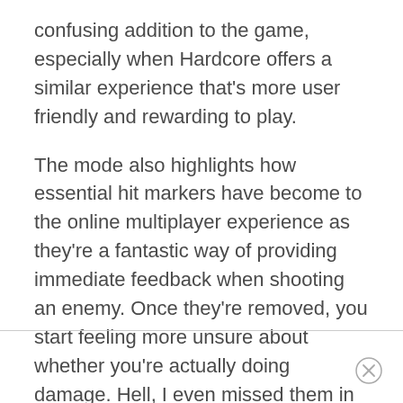confusing addition to the game, especially when Hardcore offers a similar experience that's more user friendly and rewarding to play.
The mode also highlights how essential hit markers have become to the online multiplayer experience as they're a fantastic way of providing immediate feedback when shooting an enemy. Once they're removed, you start feeling more unsure about whether you're actually doing damage. Hell, I even missed them in the Campaign.